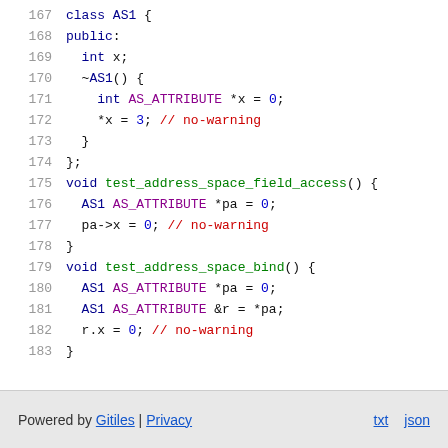[Figure (screenshot): Source code snippet lines 167-183 showing C++ class AS1 and two functions test_address_space_field_access and test_address_space_bind with syntax highlighting]
Powered by Gitiles | Privacy   txt   json